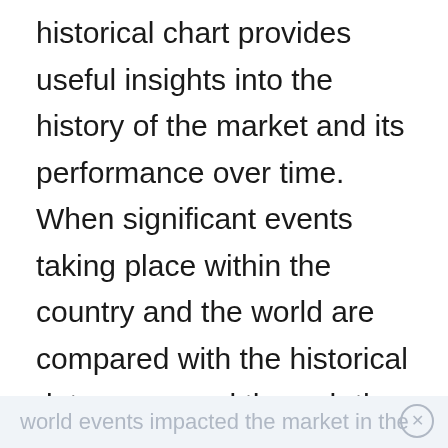historical chart provides useful insights into the history of the market and its performance over time. When significant events taking place within the country and the world are compared with the historical date preserved through the Dow, it is much easier to detect correlations within these evens and the health of the economy. It’s one of the tools that has become invaluable for determining how specific environmental conditions, trends, political climate and
world events impacted the market in the